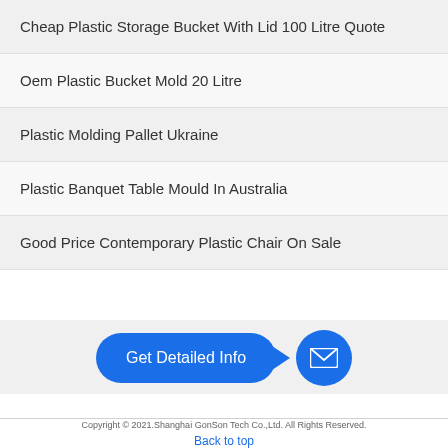Cheap Plastic Storage Bucket With Lid 100 Litre Quote
Oem Plastic Bucket Mold 20 Litre
Plastic Molding Pallet Ukraine
Plastic Banquet Table Mould In Australia
Good Price Contemporary Plastic Chair On Sale
[Figure (infographic): Blue rounded rectangle button with text 'Get Detailed Info' and a blue circle with envelope/mail icon]
Copyright © 2021.Shanghai GonSon Tech Co.,Ltd. All Rights Reserved.
Back to top